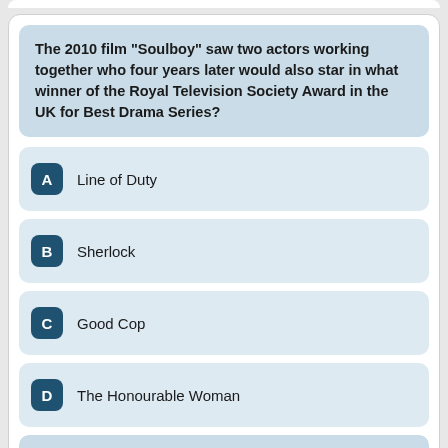The 2010 film "Soulboy" saw two actors working together who four years later would also star in what winner of the Royal Television Society Award in the UK for Best Drama Series?
A  Line of Duty
B  Sherlock
C  Good Cop
D  The Honourable Woman
Select from the options above.
Whose autobiography was entitled "Step Inside